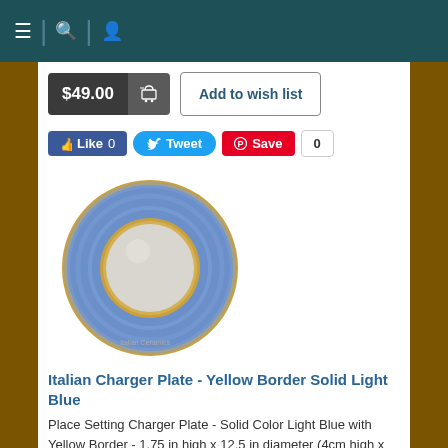Navigation bar with menu, search, and account icons
$49.00  Add to wish list
Like 0  Tweet  Save  0
[Figure (photo): Italian charger plate with yellow border and solid light blue color, circular plate on white background]
Italian Charger Plate - Yellow Border Solid Light Blue
Place Setting Charger Plate - Solid Color Light Blue with Yellow Border - 1.75 in high x 12.5 in diameter (4cm high x 32cm diameter)
Quantity  1